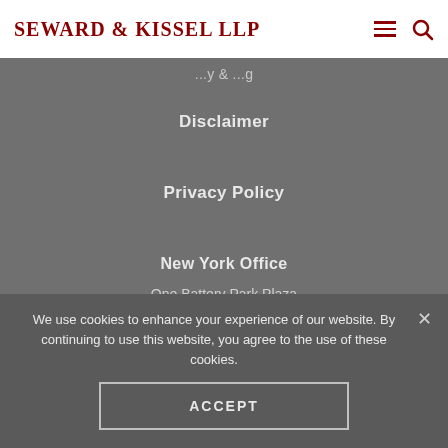Seward & Kissel LLP
...y ...g
Disclaimer
Privacy Policy
New York Office
One Battery Park Plaza
New York, NY 10004
Phone  (212) 574-1200
Fax     (212) 480-8421
We use cookies to enhance your experience of our website. By continuing to use this website, you agree to the use of these cookies.
ACCEPT